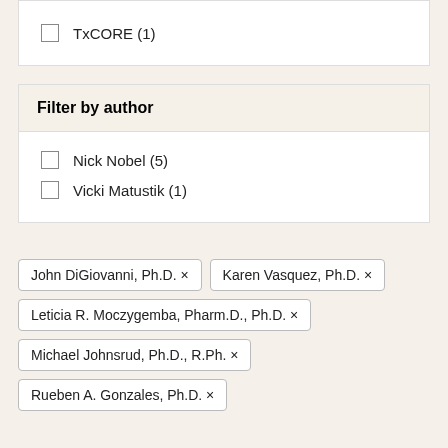TxCORE (1)
Filter by author
Nick Nobel (5)
Vicki Matustik (1)
John DiGiovanni, Ph.D. ×
Karen Vasquez, Ph.D. ×
Leticia R. Moczygemba, Pharm.D., Ph.D. ×
Michael Johnsrud, Ph.D., R.Ph. ×
Rueben A. Gonzales, Ph.D. ×